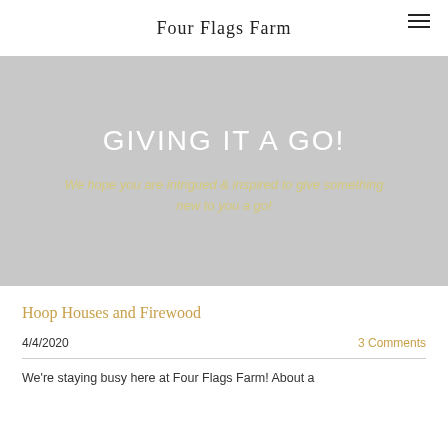Four Flags Farm
GIVING IT A GO!
We hope you are intrigued & inspired to give something new to you a go!
Hoop Houses and Firewood
4/4/2020
3 Comments
We're staying busy here at Four Flags Farm! About a